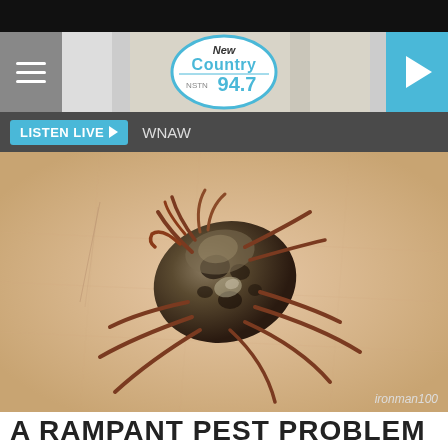[Figure (screenshot): New Country 94.7 radio station website header with hamburger menu, logo, play button, and Listen Live bar showing WNAW]
[Figure (photo): Close-up macro photograph of a tick (arachnid) on human skin, credited to ironman100]
A RAMPANT PEST PROBLEM